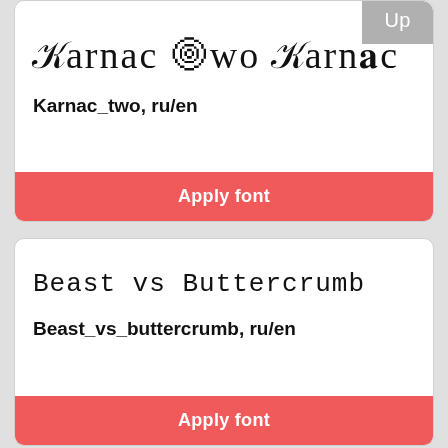[Figure (screenshot): Font preview card for Karnac Two showing decorative serif text 'Karnac Two Karnac' with an 'Up' badge in top right corner]
Karnac_two, ru/en
Apply font
[Figure (screenshot): Font preview card for Beast vs Buttercrumb showing monospace-style text 'Beast vs Buttercrumb']
Beast_vs_buttercrumb, ru/en
Apply font